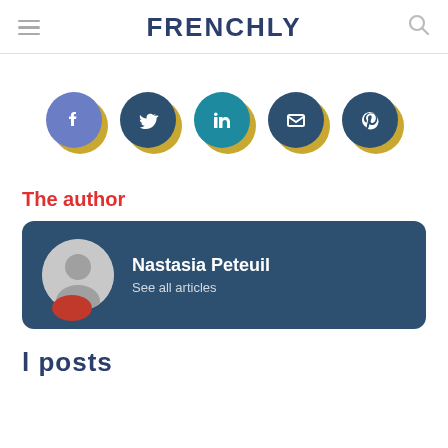FRENCHLY
[Figure (infographic): Row of 5 social share buttons: Facebook, Twitter, LinkedIn, Email, Pinterest. Each is a round icon with a blue/teal circle and a gold shadow behind it.]
The author
Nastasia Peteuil — See all articles
l posts